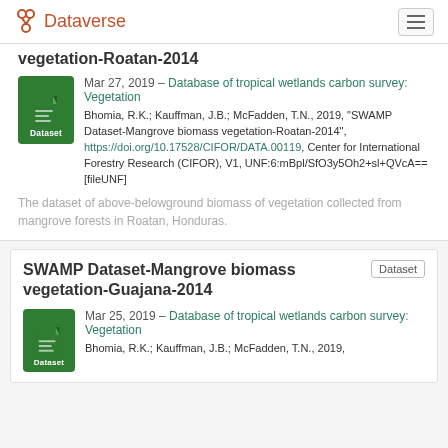Dataverse
vegetation-Roatan-2014
Mar 27, 2019 – Database of tropical wetlands carbon survey: Vegetation
Bhomia, R.K.; Kauffman, J.B.; McFadden, T.N., 2019, "SWAMP Dataset-Mangrove biomass vegetation-Roatan-2014", https://doi.org/10.17528/CIFOR/DATA.00119, Center for International Forestry Research (CIFOR), V1, UNF:6:mBpl/SfO3y5Oh2+sl+QVcA== [fileUNF]
The dataset of above-belowground biomass of vegetation collected from mangrove forests in Roatan, Honduras.
SWAMP Dataset-Mangrove biomass vegetation-Guajana-2014
Mar 25, 2019 – Database of tropical wetlands carbon survey: Vegetation
Bhomia, R.K.; Kauffman, J.B.; McFadden, T.N., 2019,